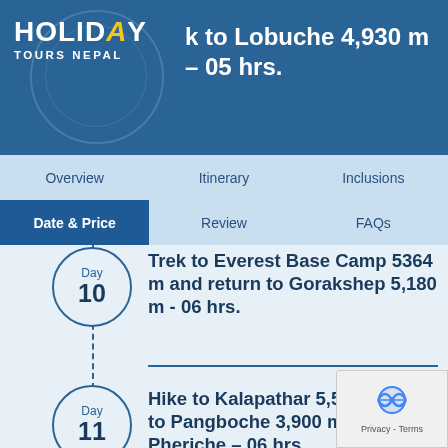Trek to Lobuche 4,930 m - 05 hrs.
Overview | Itinerary | Inclusions | Date & Price | Review | FAQs
Day 10 - Trek to Everest Base Camp 5364 m and return to Gorakshep 5,180 m - 06 hrs.
Day 11 - Hike to Kalapathar 5,545 m trek to Pangboche 3,900 m via Pheriche - 06 hrs.
Day 12 - Trek to Namche Bazaar - 06 hrs walks.